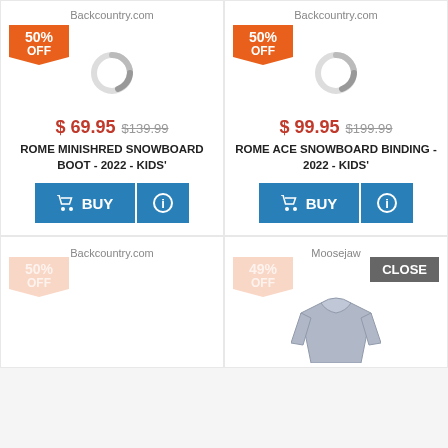Backcountry.com
[Figure (infographic): 50% OFF badge orange pentagon shape]
[Figure (infographic): Loading spinner circle gray]
$ 69.95 $139.99
ROME MINISHRED SNOWBOARD BOOT - 2022 - KIDS'
BUY
Backcountry.com
[Figure (infographic): 50% OFF badge orange pentagon shape]
[Figure (infographic): Loading spinner circle gray]
$ 99.95 $199.99
ROME ACE SNOWBOARD BINDING - 2022 - KIDS'
BUY
Backcountry.com
[Figure (infographic): 50% OFF badge orange faded pentagon shape]
Moosejaw
[Figure (infographic): 49% OFF badge orange faded pentagon shape]
CLOSE
[Figure (photo): Partial jacket/hoodie image gray]